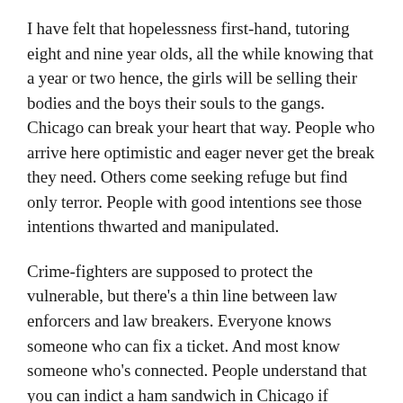I have felt that hopelessness first-hand, tutoring eight and nine year olds, all the while knowing that a year or two hence, the girls will be selling their bodies and the boys their souls to the gangs. Chicago can break your heart that way. People who arrive here optimistic and eager never get the break they need. Others come seeking refuge but find only terror. People with good intentions see those intentions thwarted and manipulated.
Crime-fighters are supposed to protect the vulnerable, but there's a thin line between law enforcers and law breakers. Everyone knows someone who can fix a ticket. And most know someone who's connected. People understand that you can indict a ham sandwich in Chicago if necessary. Everything is political, even the pizza.
I sit and watch Chicago with its eyes and elections with the light...